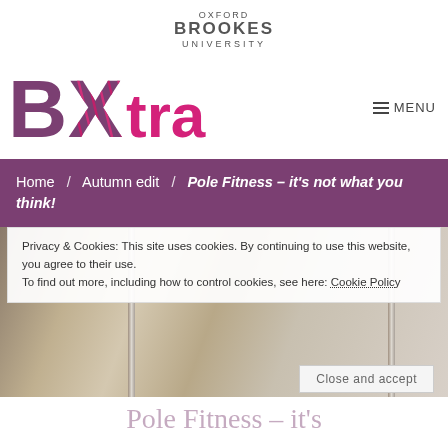OXFORD BROOKES UNIVERSITY
[Figure (logo): BXtra logo — large purple B, large magenta X with diagonal stripes, pink 'tra' text]
MENU
Home / Autumn edit / Pole Fitness – it's not what you think!
[Figure (photo): People practising pole fitness in a gym studio with vertical poles]
Privacy & Cookies: This site uses cookies. By continuing to use this website, you agree to their use.
To find out more, including how to control cookies, see here: Cookie Policy
Close and accept
Pole Fitness – it's